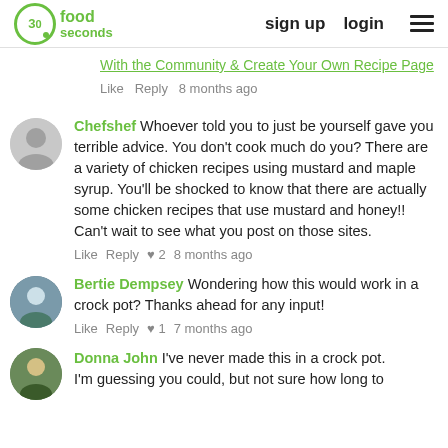30 seconds food | sign up | login
With the Community & Create Your Own Recipe Page
Like  Reply  8 months ago
Chefshef  Whoever told you to just be yourself gave you terrible advice. You don't cook much do you? There are a variety of chicken recipes using mustard and maple syrup. You'll be shocked to know that there are actually some chicken recipes that use mustard and honey!! Can't wait to see what you post on those sites.
Like  Reply  ♥ 2  8 months ago
Bertie Dempsey  Wondering how this would work in a crock pot? Thanks ahead for any input!
Like  Reply  ♥ 1  7 months ago
Donna John  I've never made this in a crock pot. I'm guessing you could, but not sure how long to